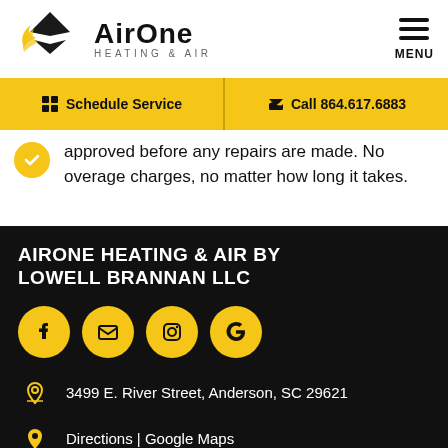[Figure (logo): AirOne Heating & Air logo with yellow/black flame/diamond icon and company name]
MENU
Schedule Service
Call 864.617.6883
approved before any repairs are made. No overage charges, no matter how long it takes.
AIRONE HEATING & AIR BY LOWELL BRANNAN LLC
3499 E. River Street, Anderson, SC 29621
Directions | Google Maps